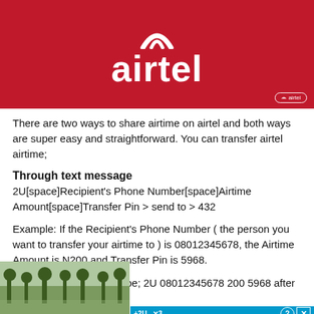[Figure (logo): Airtel logo on red background with white text 'airtel' and checkmark symbol]
There are two ways to share airtime on airtel and both ways are super easy and straightforward. You can transfer airtel airtime;
Through text message
2U[space]Recipient's Phone Number[space]Airtime Amount[space]Transfer Pin > send to > 432
Example: If the Recipient's Phone Number ( the person you want to transfer your airtime to ) is 08012345678, the Airtime Amount is N200 and Transfer Pin is 5968.
Then your message will be; 2U 08012345678 200 5968 after w
[Figure (screenshot): Advertisement overlay with 'Hold and Move' text on dark background with blue top bar showing +2U and X3 labels, outdoor winter photo on left]